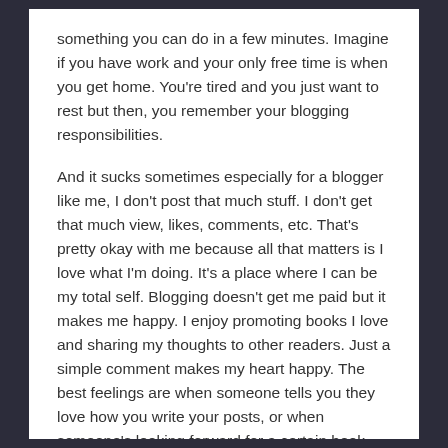something you can do in a few minutes. Imagine if you have work and your only free time is when you get home. You're tired and you just want to rest but then, you remember your blogging responsibilities.
And it sucks sometimes especially for a blogger like me, I don't post that much stuff. I don't get that much view, likes, comments, etc. That's pretty okay with me because all that matters is I love what I'm doing. It's a place where I can be my total self. Blogging doesn't get me paid but it makes me happy. I enjoy promoting books I love and sharing my thoughts to other readers. Just a simple comment makes my heart happy. The best feelings are when someone tells you they love how you write your posts, or when someone's looking forward for a certain book because of a review you posted.